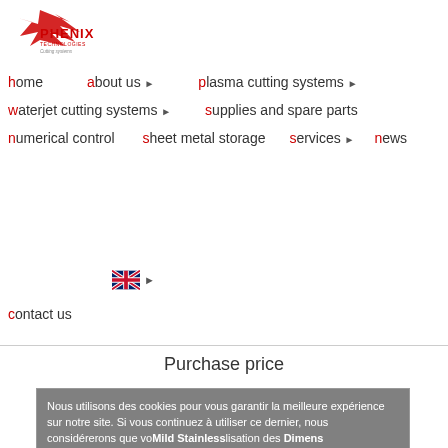[Figure (logo): Phenix Technologies Cutting Systems logo with red bird/wing graphic and red/black text]
home  about us  plasma cutting systems  waterjet cutting systems  supplies and spare parts  numerical control  sheet metal storage  services  news  contact us
Purchase price
Nous utilisons des cookies pour vous garantir la meilleure expérience sur notre site. Si vous continuez à utiliser ce dernier, nous considérerons que vous acceptez l'utilisation des
| Mild steel | Stainless steel | Aluminium | Dimens / w |
| --- | --- | --- | --- |
| HPR |  | 16 |  |
| 100XD |  |  |  |